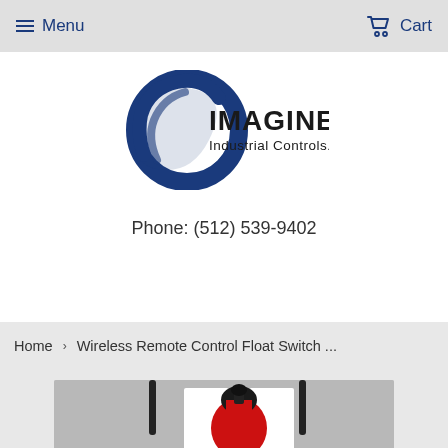Menu   Cart
[Figure (logo): Imagine Industrial Controls .com logo with blue crescent/spiral graphic]
Phone: (512) 539-9402
Home  >  Wireless Remote Control Float Switch ...
[Figure (photo): Product photo of wireless remote control float switch device with black antennas and red float component, partial view]